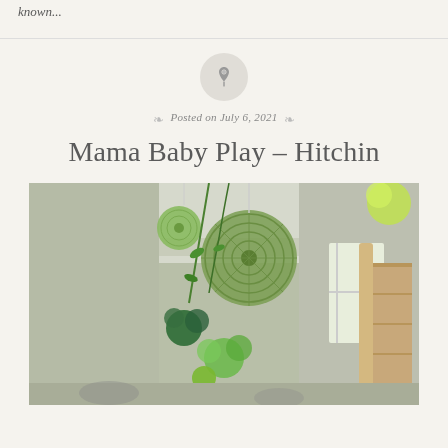known...
Posted on July 6, 2021
Mama Baby Play – Hitchin
[Figure (photo): Indoor room decorated with green paper fan decorations, pompoms, and hanging greenery from the ceiling. A wooden bookshelf is visible on the right side.]